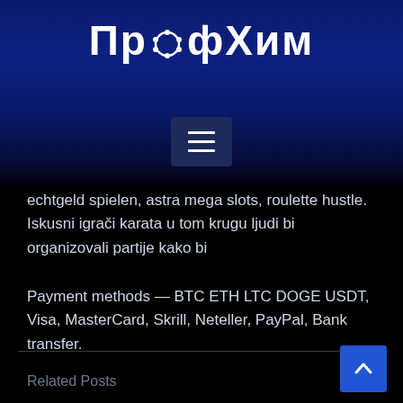ПрофХим
echtgeld spielen, astra mega slots, roulette hustle. Iskusni igrači karata u tom krugu ljudi bi organizovali partije kako bi
Payment methods — BTC ETH LTC DOGE USDT, Visa, MasterCard, Skrill, Neteller, PayPal, Bank transfer.
Related Posts